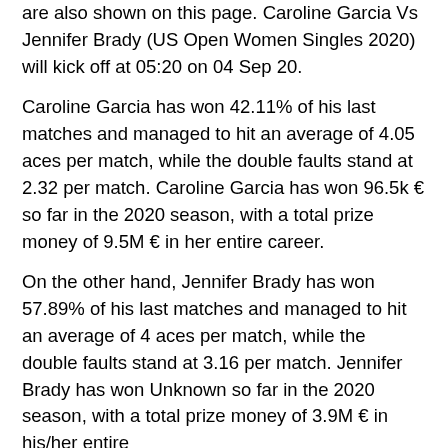are also shown on this page. Caroline Garcia Vs Jennifer Brady (US Open Women Singles 2020) will kick off at 05:20 on 04 Sep 20.
Caroline Garcia has won 42.11% of his last matches and managed to hit an average of 4.05 aces per match, while the double faults stand at 2.32 per match. Caroline Garcia has won 96.5k € so far in the 2020 season, with a total prize money of 9.5M € in her entire career.
On the other hand, Jennifer Brady has won 57.89% of his last matches and managed to hit an average of 4 aces per match, while the double faults stand at 3.16 per match. Jennifer Brady has won Unknown so far in the 2020 season, with a total prize money of 3.9M € in his/her entire
ADVERTISEMENT
The match will be played on hardcourt outdoor courts in US Open (USA).